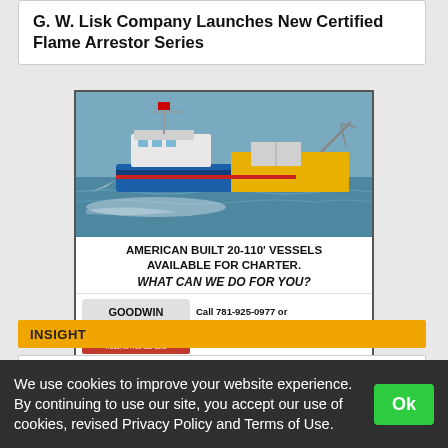G. W. Lisk Company Launches New Certified Flame Arrestor Series
[Figure (illustration): Advertisement for Goodwin Marine Services showing a blue and yellow work vessel underway on the water, with the text: AMERICAN BUILT 20-110' VESSELS AVAILABLE FOR CHARTER. WHAT CAN WE DO FOR YOU? Goodwin Marine Services logo (Hull, MA 781-925-1593), Call 781-925-0977 or Email: info@gmsoffshore.com Website: www.gmsoffshore.com]
INSIGHT
We use cookies to improve your website experience. By continuing to use our site, you accept our use of cookies, revised Privacy Policy and Terms of Use.